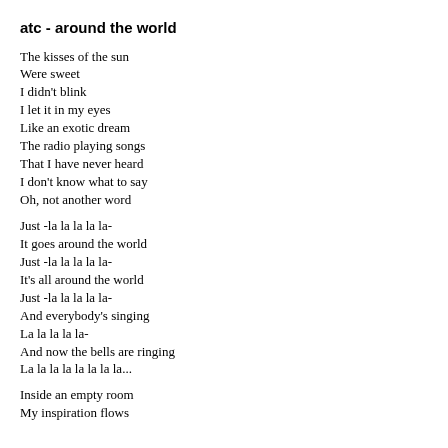atc - around the world
The kisses of the sun
Were sweet
I didn't blink
I let it in my eyes
Like an exotic dream
The radio playing songs
That I have never heard
I don't know what to say
Oh, not another word
Just -la la la la la-
It goes around the world
Just -la la la la la-
It's all around the world
Just -la la la la la-
And everybody's singing
La la la la la-
And now the bells are ringing
La la la la la la la la...
Inside an empty room
My inspiration flows